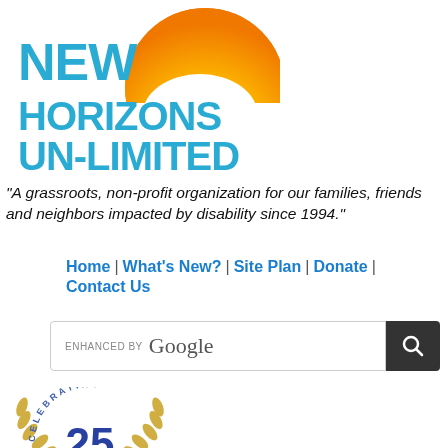[Figure (logo): New Horizons Un-Limited logo with teal text and golden/yellow sun arc graphic]
"A grassroots, non-profit organization for our families, friends and neighbors impacted by disability since 1994."
Home | What's New? | Site Plan | Donate | Contact Us
[Figure (screenshot): Enhanced by Google search bar with search button]
[Figure (illustration): Celebrating 25 years badge with gold laurel wreath and blue 25 numeral]